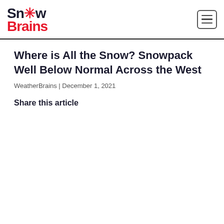SnowBrains
Where is All the Snow? Snowpack Well Below Normal Across the West
WeatherBrains | December 1, 2021
Share this article